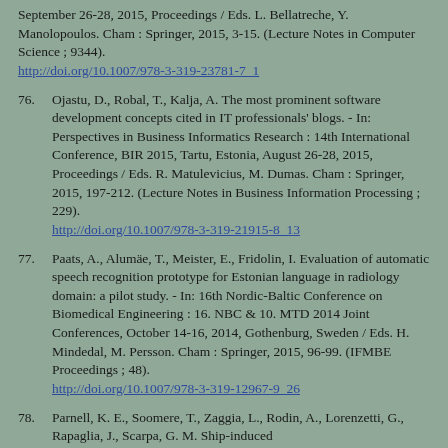September 26-28, 2015, Proceedings / Eds. L. Bellatreche, Y. Manolopoulos. Cham : Springer, 2015, 3-15. (Lecture Notes in Computer Science ; 9344). http://doi.org/10.1007/978-3-319-23781-7_1
76. Ojastu, D., Robal, T., Kalja, A. The most prominent software development concepts cited in IT professionals' blogs. - In: Perspectives in Business Informatics Research : 14th International Conference, BIR 2015, Tartu, Estonia, August 26-28, 2015, Proceedings / Eds. R. Matulevicius, M. Dumas. Cham : Springer, 2015, 197-212. (Lecture Notes in Business Information Processing ; 229). http://doi.org/10.1007/978-3-319-21915-8_13
77. Paats, A., Alumäe, T., Meister, E., Fridolin, I. Evaluation of automatic speech recognition prototype for Estonian language in radiology domain: a pilot study. - In: 16th Nordic-Baltic Conference on Biomedical Engineering : 16. NBC & 10. MTD 2014 Joint Conferences, October 14-16, 2014, Gothenburg, Sweden / Eds. H. Mindedal, M. Persson. Cham : Springer, 2015, 96-99. (IFMBE Proceedings ; 48). http://doi.org/10.1007/978-3-319-12967-9_26
78. Parnell, K. E., Soomere, T., Zaggia, L., Rodin, A., Lorenzetti, G., Rapaglia, J., Scarpa, G. M. Ship-induced sediment...